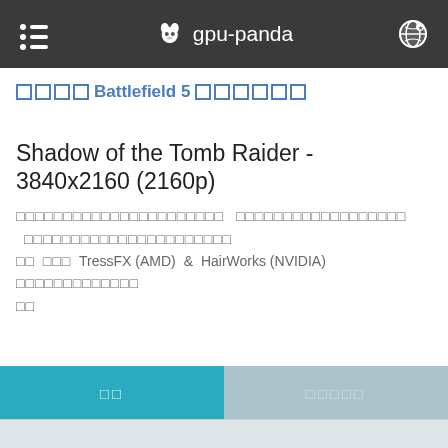gpu-panda
กลับ Battlefield 5 ข้อมูลเกม
Shadow of the Tomb Raider - 3840x2160 (2160p)
ทดสอบประสิทธิภาพกราฟิกการ์ดเกม Shadow of the Tomb Raider ที่ความละเอียด 3840x2160 (2160p) โดย ใช้ TressFX (AMD) & HairWorks (NVIDIA) เป็นการทดสอบที่ใช้กราฟิกสูงสุด
ผล   นักแสดง